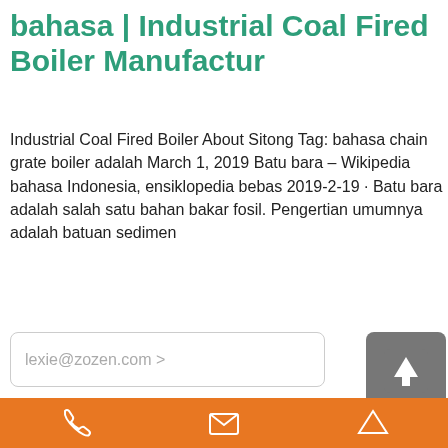bahasa | Industrial Coal Fired Boiler Manufactur
Industrial Coal Fired Boiler About Sitong Tag: bahasa chain grate boiler adalah March 1, 2019 Batu bara – Wikipedia bahasa Indonesia, ensiklopedia bebas 2019-2-19 · Batu bara adalah salah satu bahan bakar fosil. Pengertian umumnya adalah batuan sedimen
[Figure (screenshot): Email input box with placeholder text lexie@zozen.com >]
[Figure (screenshot): Get A Quote > button with green border]
[Figure (screenshot): Upload button (grey square with up arrow icon)]
[Figure (photo): Industrial coal fired boiler equipment photo showing large teal/green boiler unit with yellow pipes and cylindrical tanks]
[Figure (screenshot): Chat online widget (blue) with chat bubble icon and x close button]
Phone | Email | Navigation icons on orange bar